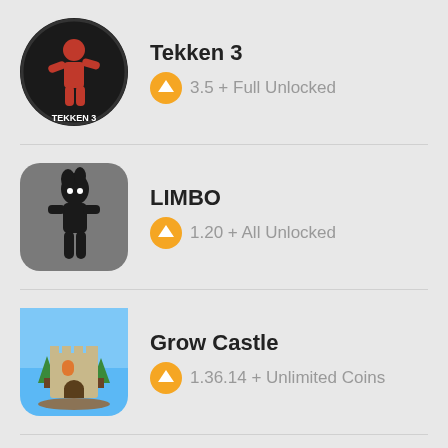[Figure (illustration): Tekken 3 circular app icon with fighter character]
Tekken 3
3.5 + Full Unlocked
[Figure (illustration): LIMBO app icon with dark silhouette character on grey background with rounded corners]
LIMBO
1.20 + All Unlocked
[Figure (illustration): Grow Castle app icon with castle tower and trees on blue/sky background with rounded corners]
Grow Castle
1.36.14 + Unlimited Coins
Minecraft Pocket Edition